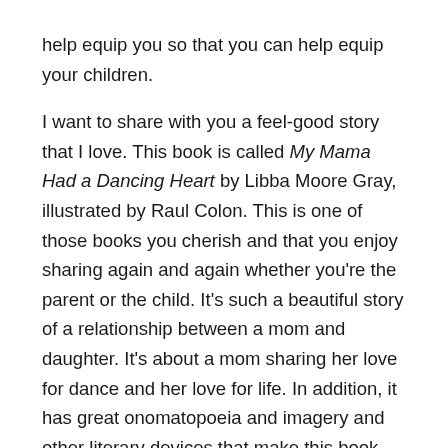help equip you so that you can help equip your children.
I want to share with you a feel-good story that I love. This book is called My Mama Had a Dancing Heart by Libba Moore Gray, illustrated by Raul Colon. This is one of those books you cherish and that you enjoy sharing again and again whether you're the parent or the child. It's such a beautiful story of a relationship between a mom and daughter. It's about a mom sharing her love for dance and her love for life. In addition, it has great onomatopoeia and imagery and other literary devices that make this book fun for teaching literary devices if you're a homeschooler. The pictures look like they were either painted or that the colon used pastels. Each picture is full of color.
The book takes us through the seasons of the year. The book says, "My mama had a dancing heart, and she shared that heart with me." She starts with spring. "Mama says, 'Bless the world, it feels like a tip-tapping, song-singing, finger-snapping kind of day. Let's